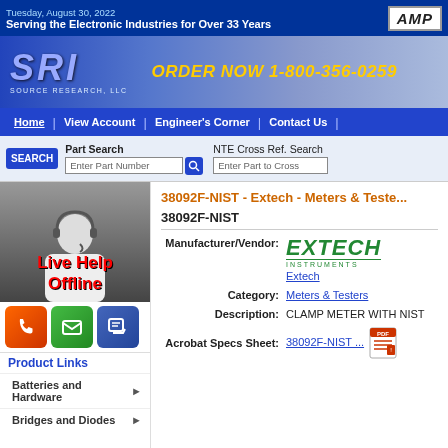Tuesday, August 30, 2022
Serving the Electronic Industries for Over 33 Years
[Figure (logo): SRI Source Research LLC logo with ORDER NOW 1-800-356-0259]
Home | View Account | Engineer's Corner | Contact Us
Part Search - Enter Part Number | NTE Cross Ref. Search - Enter Part to Cross
38092F-NIST - Extech - Meters & Testers
38092F-NIST
Manufacturer/Vendor: EXTECH INSTRUMENTS
Extech
Category: Meters & Testers
Description: CLAMP METER WITH NIST
Acrobat Specs Sheet: 38092F-NIST ...
Product Links
Batteries and Hardware
Bridges and Diodes